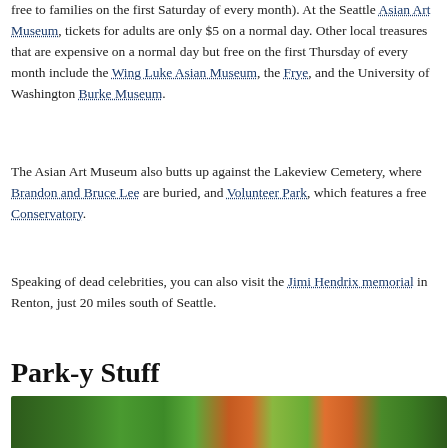free to families on the first Saturday of every month). At the Seattle Asian Art Museum, tickets for adults are only $5 on a normal day. Other local treasures that are expensive on a normal day but free on the first Thursday of every month include the Wing Luke Asian Museum, the Frye, and the University of Washington Burke Museum.
The Asian Art Museum also butts up against the Lakeview Cemetery, where Brandon and Bruce Lee are buried, and Volunteer Park, which features a free Conservatory.
Speaking of dead celebrities, you can also visit the Jimi Hendrix memorial in Renton, just 20 miles south of Seattle.
Park-y Stuff
[Figure (photo): Outdoor park scene with green and autumn-colored trees]